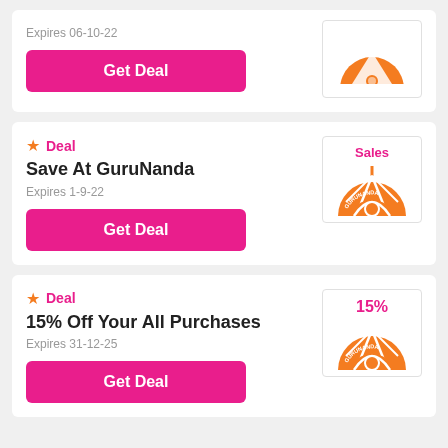Expires 06-10-22
Get Deal
Deal
Save At GuruNanda
Expires 1-9-22
Get Deal
Sales
Deal
15% Off Your All Purchases
Expires 31-12-25
Get Deal
15%